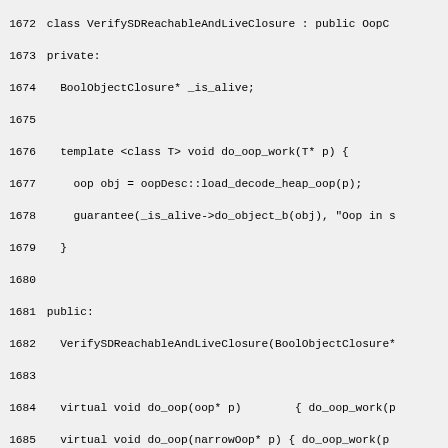Source code listing lines 1672-1702, C++ code for BoolObjectClosure and SystemDictionary